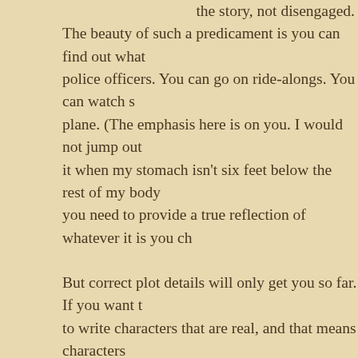the story, not disengaged. The beauty of such a predicament is you can find out what police officers. You can go on ride-alongs. You can watch s plane. (The emphasis here is on you. I would not jump out it when my stomach isn't six feet below the rest of my body you need to provide a true reflection of whatever it is you ch But correct plot details will only get you so far. If you want t to write characters that are real, and that means characters readers are talking about when they say they don't like two- to read about someone who's all good or all evil. After a wh and boring. Readers want to see the shades of gray. They people do, with all the emotion that entails. And the good part about all this? You don't need to intervie or go on ride-alongs to get these details right, though you c is there a "right"? More on that below.) To get emotions and emotional reactions right, all you need are two things: a goo imagination--which I hope you have if you're a writer--and y the special sauce of solid writing, empathy.